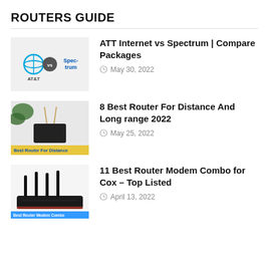ROUTERS GUIDE
ATT Internet vs Spectrum | Compare Packages — May 30, 2022
8 Best Router For Distance And Long range 2022 — May 25, 2022
11 Best Router Modem Combo for Cox – Top Listed — April 13, 2022